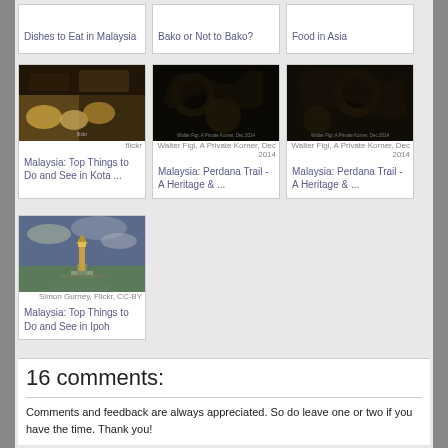[Figure (screenshot): Top row of article cards (partially visible): Dishes to Eat in Malaysia, Bako or Not to Bako?, Food in Asia]
Dishes to Eat in Malaysia
Bako or Not to Bako?
Food in Asia
[Figure (photo): Photo of Malaysian food dishes on a dark surface]
Malaysia: Top Things to Do and See in Kota ...
[Figure (photo): Close-up photo of dark decorative pattern/batik]
Malaysia: Perdana Trail - A Heritage & ...
[Figure (photo): Close-up photo of dark decorative pattern/batik]
Malaysia: Perdana Trail - A Heritage & ...
[Figure (photo): Photo of a lighthouse on a pier under cloudy sky]
Malaysia: Top Things to Do and See in Ipoh
16 comments:
Comments and feedback are always appreciated. So do leave one or two if you have the time. Thank you!